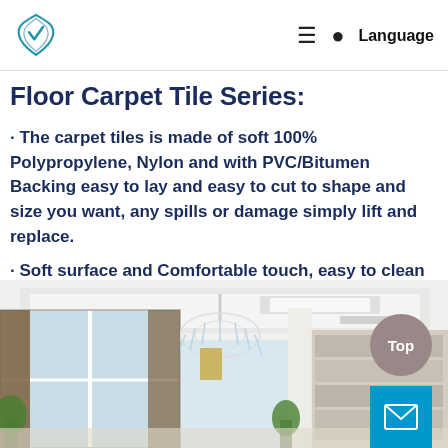Floor Carpet Tile Series: [navigation logo, menu, search, Language]
Floor Carpet Tile Series:
· The carpet tiles is made of soft 100% Polypropylene, Nylon and with PVC/Bitumen Backing easy to lay and easy to cut to shape and size you want, any spills or damage simply lift and replace.
· Soft surface and Comfortable touch, easy to clean and maintain. Sound absorbing.
[Figure (photo): Interior room photo showing a bright living space with chandelier, large windows, curtains, plants, and bookshelves with a 'Top' button overlay and mail icon]